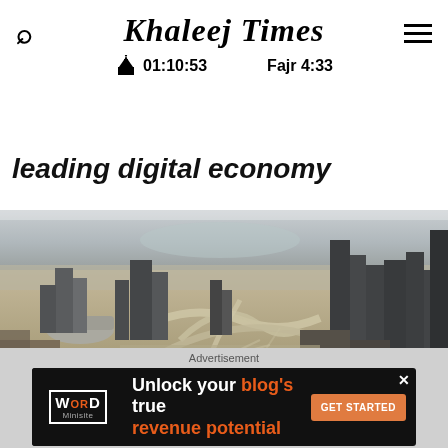Khaleej Times — 01:10:53 — Fajr 4:33
leading digital economy
[Figure (photo): Aerial view of Dubai skyline with highways and skyscrapers]
The Artificial Intelligence Office will be supervising the National
[Figure (other): Advertisement banner: Word Minisite — Unlock your blog's true revenue potential — GET STARTED]